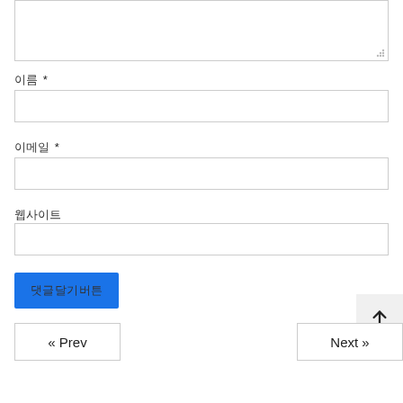[Figure (screenshot): Textarea input box at the top of the page, partially visible with a resize handle indicator at bottom-right corner]
이름 *
[Figure (screenshot): Single-line text input box for 이름 (name) field]
이메일 *
[Figure (screenshot): Single-line text input box for 이메일 (email) field]
웹사이트
[Figure (screenshot): Single-line text input box for 웹사이트 (website) field]
댓글달기버튼
« Prev
Next »